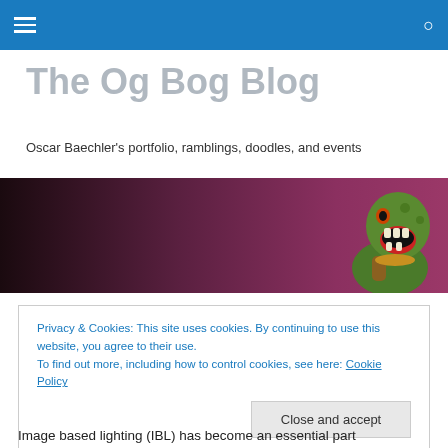The Og Bog Blog navigation bar
The Og Bog Blog
Oscar Baechler's portfolio, ramblings, doodles, and events
[Figure (illustration): Dark gradient banner with a 3D rendered green monster character on the right side with an open mouth, against a dark purple-brown gradient background.]
Privacy & Cookies: This site uses cookies. By continuing to use this website, you agree to their use.
To find out more, including how to control cookies, see here: Cookie Policy
Close and accept
Image based lighting (IBL) has become an essential part